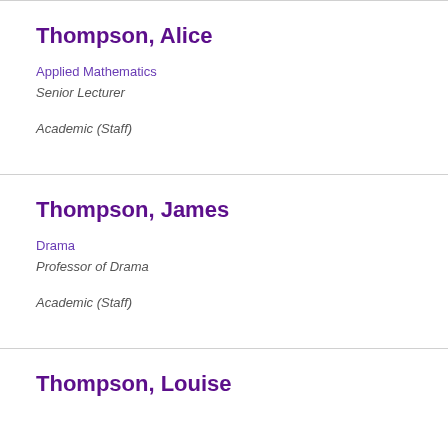Thompson, Alice
Applied Mathematics
Senior Lecturer
Academic (Staff)
Thompson, James
Drama
Professor of Drama
Academic (Staff)
Thompson, Louise